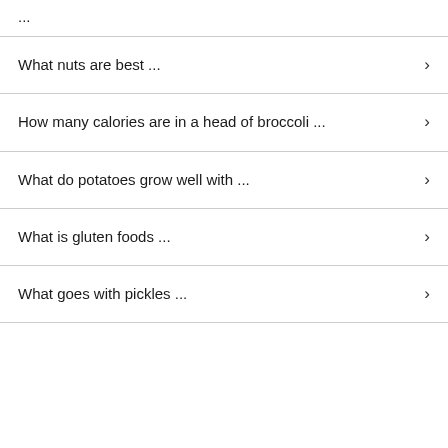...
What nuts are best ...
How many calories are in a head of broccoli ...
What do potatoes grow well with ...
What is gluten foods ...
What goes with pickles ...